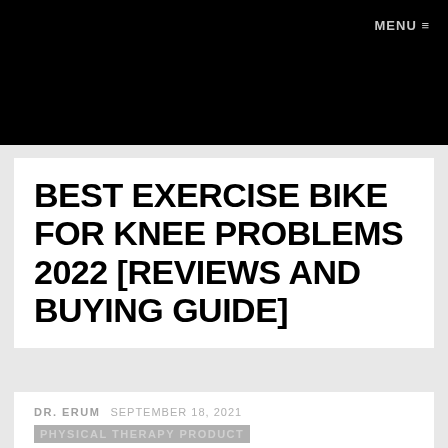MENU ≡
BEST EXERCISE BIKE FOR KNEE PROBLEMS 2022 [REVIEWS AND BUYING GUIDE]
DR. ERUM   SEPTEMBER 18, 2021
PHYSICAL THERAPY PRODUCT